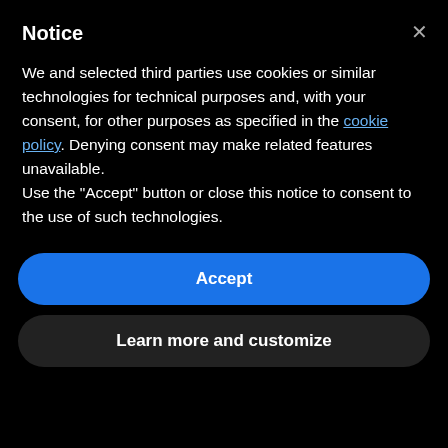Notice
We and selected third parties use cookies or similar technologies for technical purposes and, with your consent, for other purposes as specified in the cookie policy. Denying consent may make related features unavailable.
Use the “Accept” button or close this notice to consent to the use of such technologies.
Accept
Learn more and customize
Roland Barthes, an important French essayist, critic, linguist,